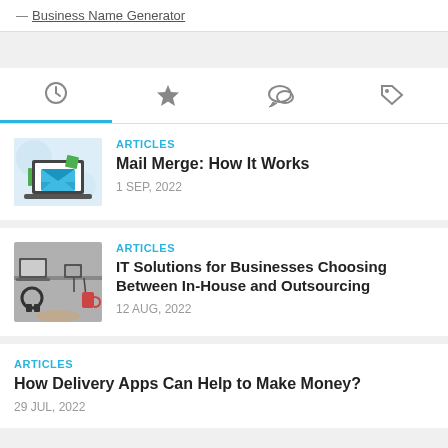— Business Name Generator
ARTICLES
Mail Merge: How It Works
1 SEP, 2022
ARTICLES
IT Solutions for Businesses Choosing Between In-House and Outsourcing
12 AUG, 2022
ARTICLES
How Delivery Apps Can Help to Make Money?
29 JUL, 2022